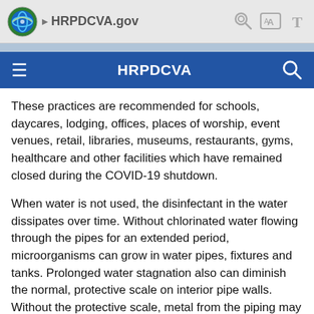HRPDCVA.gov
HRPDCVA
These practices are recommended for schools, daycares, lodging, offices, places of worship, event venues, retail, libraries, museums, restaurants, gyms, healthcare and other facilities which have remained closed during the COVID-19 shutdown.
When water is not used, the disinfectant in the water dissipates over time. Without chlorinated water flowing through the pipes for an extended period, microorganisms can grow in water pipes, fixtures and tanks. Prolonged water stagnation also can diminish the normal, protective scale on interior pipe walls. Without the protective scale, metal from the piping may dissolve into the water.
During the flushing process, stagnant, existing water is